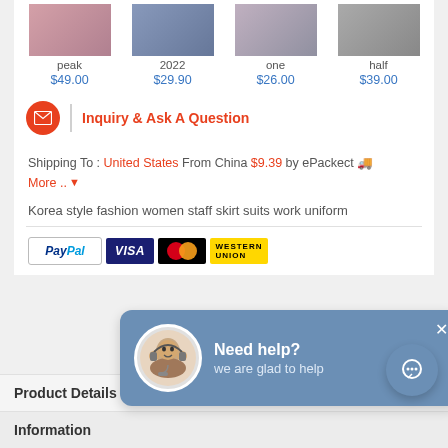[Figure (screenshot): Product thumbnails row with names and prices: peak $49.00, 2022 $29.90, one $26.00, half $39.00]
peak $49.00   2022 $29.90   one $26.00   half $39.00
Inquiry & Ask A Question
Shipping To : United States From China $9.39 by ePackect More ..
Korea style fashion women staff skirt suits work uniform
[Figure (screenshot): Payment method logos: PayPal, Visa, Mastercard, Western Union]
[Figure (screenshot): Need help? popup with avatar, text 'we are glad to help' and close button]
Product Details
Information